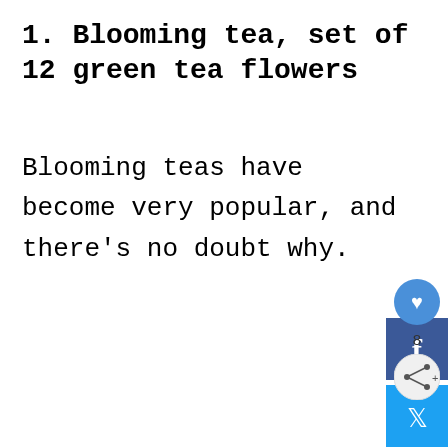1. Blooming tea, set of 12 green tea flowers
Blooming teas have become very popular, and there's no doubt why.
[Figure (infographic): Social media share buttons sidebar on the right: Facebook (dark blue), Twitter (light blue), Pinterest (red), each with icon. Below: heart/like button (blue circle), count of 8, share button (light circle with share icon).]